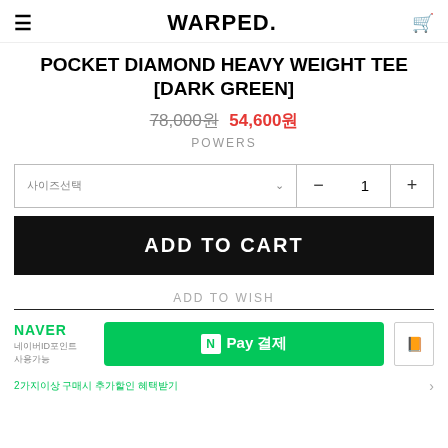WARPED.
POCKET DIAMOND HEAVY WEIGHT TEE [DARK GREEN]
78,000원 54,600원
POWERS
사이즈선택 - 1 + ADD TO CART
ADD TO WISH
NAVER 네이버ID포인트 사용가능 N Pay 결제 2가지이상 구매시 추가할인 혜택받기